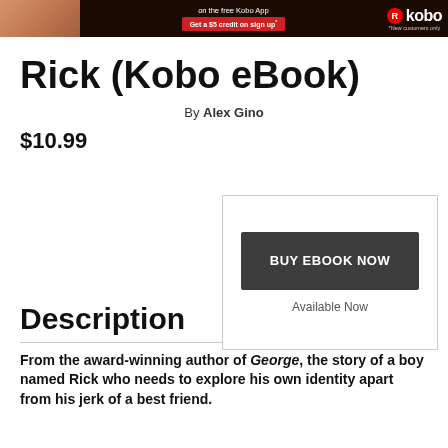[Figure (infographic): Kobo promotional banner: image of person reading on left, text 'on the free Kobo App' and 'Get a $5 credit on sign up*' in red button, Kobo logo on right, '*New customers only' note]
Rick (Kobo eBook)
By Alex Gino
$10.99
BUY EBOOK NOW
Available Now
Description
From the award-winning author of George, the story of a boy named Rick who needs to explore his own identity apart from his jerk of a best friend.